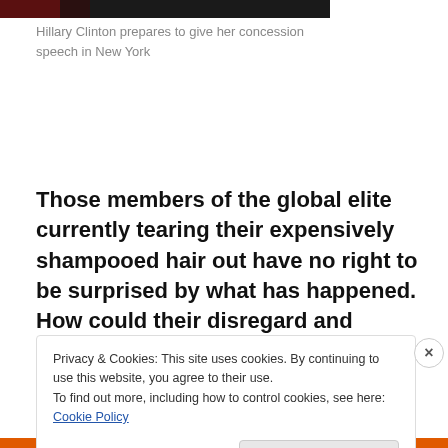[Figure (photo): Partial photo strip at the top of the page, showing a dark/red image of Hillary Clinton]
Hillary Clinton prepares to give her concession speech in New York
Those members of the global elite currently tearing their expensively shampooed hair out have no right to be surprised by what has happened. How could their disregard and arrogance have led to any other
Privacy & Cookies: This site uses cookies. By continuing to use this website, you agree to their use.
To find out more, including how to control cookies, see here: Cookie Policy
Close and accept